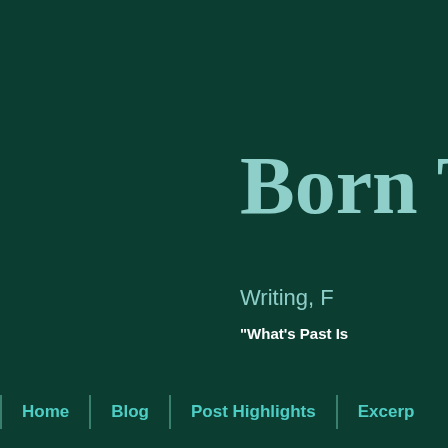Born T
Writing, F
"What's Past Is
Home | Blog | Post Highlights | Excerp
Thursday, May 31
[Figure (screenshot): Social media icon buttons: Facebook, Twitter, Instagram, Email on dark rounded square backgrounds]
Newsletter Sign Up
Deadpool
***WARNING: H